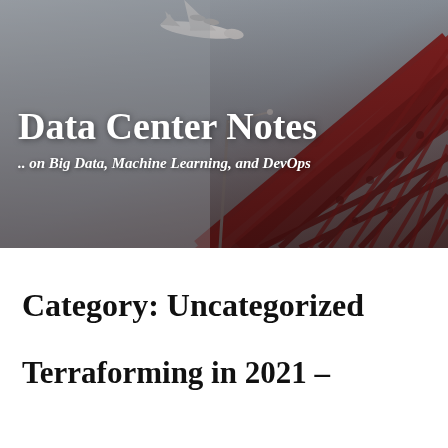[Figure (photo): Hero image showing a view from below of a red steel bridge structure at an angle with a commercial airplane flying overhead against a gray sky. White text overlay shows the site title and subtitle.]
Data Center Notes
.. on Big Data, Machine Learning, and DevOps
Category: Uncategorized
Terraforming in 2021 –